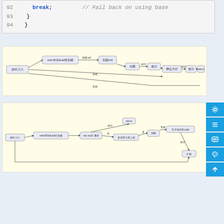[Figure (screenshot): Code snippet showing lines 92-94 with break; statement and closing braces, with comment // Fall back on using base]
[Figure (flowchart): First flowchart showing cell allocation logic with nodes: 插件入口, cells存在&cell使创建, 创建cell, 加载, 成功, 槽位为空, 成功, return, and failure paths labeled 失败]
[Figure (flowchart): Second flowchart showing more complex cell allocation logic with nodes: 插件入口, cells存在&cell已创建, cas ce13 属否, return, 是否有引用上游, 否, 是, 加载, 失败, 互斥地托管cells, 成功, 扩展]